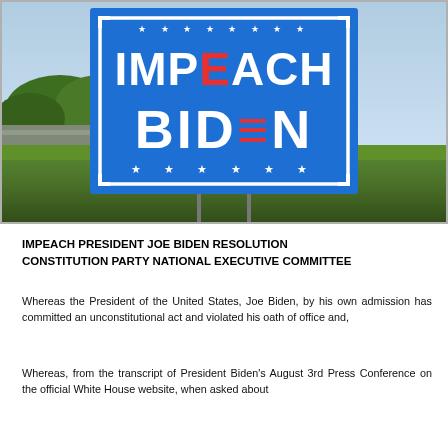[Figure (photo): A blue yard sign reading 'IMPEACH BIDEN' with stars, planted in grass along a roadside with trees in the background.]
IMPEACH PRESIDENT JOE BIDEN RESOLUTION CONSTITUTION PARTY NATIONAL EXECUTIVE COMMITTEE
Whereas the President of the United States, Joe Biden, by his own admission has committed an unconstitutional act and violated his oath of office and,
Whereas, from the transcript of President Biden's August 3rd Press Conference on the official White House website, when asked about